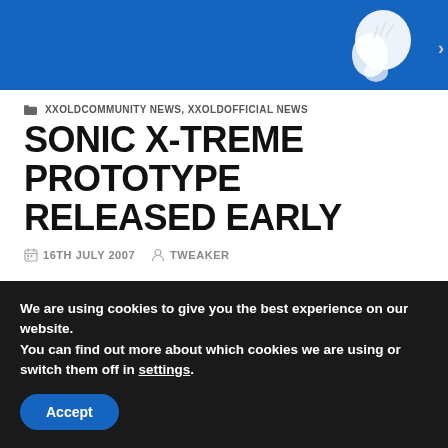[Figure (illustration): Blue banner background with a white cartoon character figure (Sonic-related artwork) on the right side]
XXOLDCOMMUNITY NEWS, XXOLDOFFICIAL NEWS
SONIC X-TREME PROTOTYPE RELEASED EARLY
16TH JULY 2007   TWEAKER
If you've been paying attention to Sonic News at all, you'll have noticed this article that we
We are using cookies to give you the best experience on our website.
You can find out more about which cookies we are using or switch them off in settings.
Accept